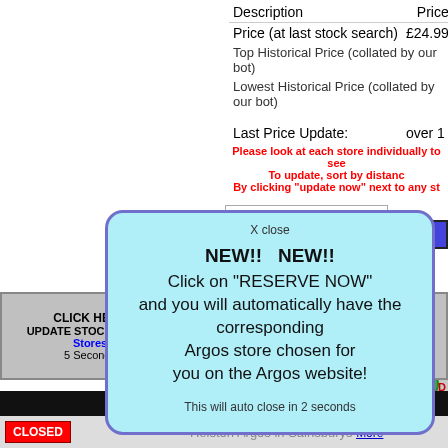Description    Price (at last stock search)  £24.99
Top Historical Price (collated by our bot)
Lowest Historical Price (collated by our bot)
Last Price Update:    over 1
Please look at each store individually to see   To update, sort by distanc   By clicking "update now" next to any st
X close
NEW!!   NEW!!
Click on "RESERVE NOW"
and you will automatically have the corresponding
Argos store chosen for
you on the Argos website!
This will auto close in 2 seconds
Postcode
CLICK HERE
UPDATE STOCK 5 Local Stores
5 Seconds
UPDATE STOCK 10 Mile Radius Stores
5 Seconds
UPDA
| Store Name |
| --- |
| Helston Argos in Sainsburys More |
CLOSED